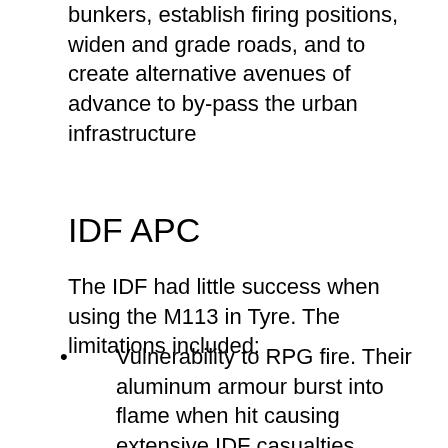bunkers, establish firing positions, widen and grade roads, and to create alternative avenues of advance to by-pass the urban infrastructure
IDF APC
The IDF had little success when using the M113 in Tyre. The limitations included:
Vulnerability to RPG fire. Their aluminum armour burst into flame when hit causing extensive IDF casualties.
Inability to provide suppressing fire. Their machine-guns lacked sufficient elevation to use against upper stories of building.